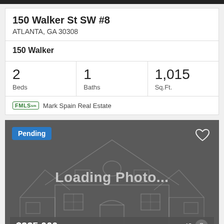150 Walker St SW #8
ATLANTA, GA 30308
150 Walker
2 Beds
1 Baths
1,015 Sq.Ft.
FMLS  Mark Spain Real Estate
[Figure (screenshot): Property photo placeholder with dark grey background showing a wireframe house outline and 'Loading Photo...' text overlay. A blue 'Pending' badge is in the top-left corner and a heart icon in the top-right. The bottom shows a partially visible price '$325,000' and a photo count icon.]